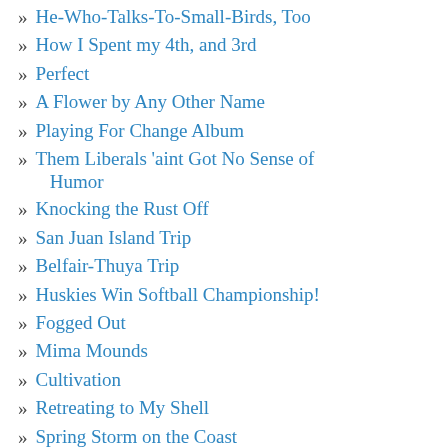He-Who-Talks-To-Small-Birds, Too
How I Spent my 4th, and 3rd
Perfect
A Flower by Any Other Name
Playing For Change Album
Them Liberals 'aint Got No Sense of Humor
Knocking the Rust Off
San Juan Island Trip
Belfair-Thuya Trip
Huskies Win Softball Championship!
Fogged Out
Mima Mounds
Cultivation
Retreating to My Shell
Spring Storm on the Coast